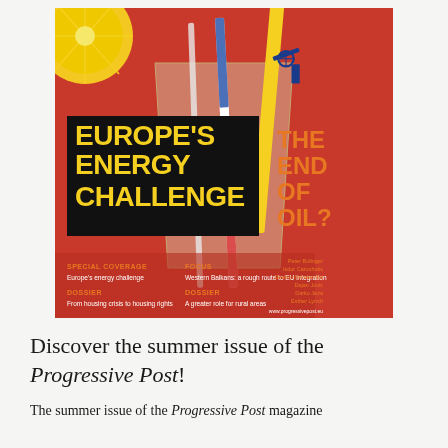[Figure (illustration): Magazine cover of Progressive Post summer issue showing a red background with a glass containing straws (one shaped like an oil pump), a lemon slice garnish. Title reads 'EUROPE'S ENERGY CHALLENGE' in yellow and 'THE END OF OIL?' in orange. Cover sections include Special Coverage, Focus, and two Dossier sections. Author names listed on the right.]
Discover the summer issue of the Progressive Post!
The summer issue of the Progressive Post magazine